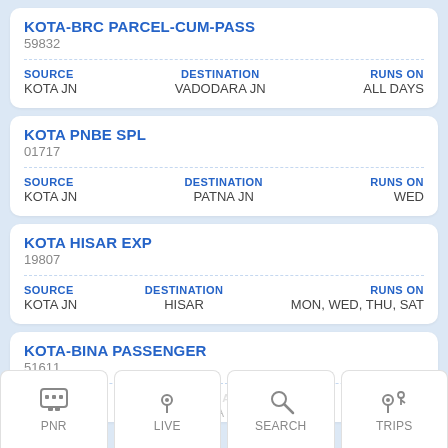KOTA-BRC PARCEL-CUM-PASS
59832
| SOURCE | DESTINATION | RUNS ON |
| --- | --- | --- |
| KOTA JN | VADODARA JN | ALL DAYS |
KOTA PNBE SPL
01717
| SOURCE | DESTINATION | RUNS ON |
| --- | --- | --- |
| KOTA JN | PATNA JN | WED |
KOTA HISAR EXP
19807
| SOURCE | DESTINATION | RUNS ON |
| --- | --- | --- |
| KOTA JN | HISAR | MON, WED, THU, SAT |
KOTA-BINA PASSENGER
51611
SOURCE | DESTINATION | RUNS ON
KOTA | BINA JN | ALL DAYS
PNR | LIVE | SEARCH | TRIPS